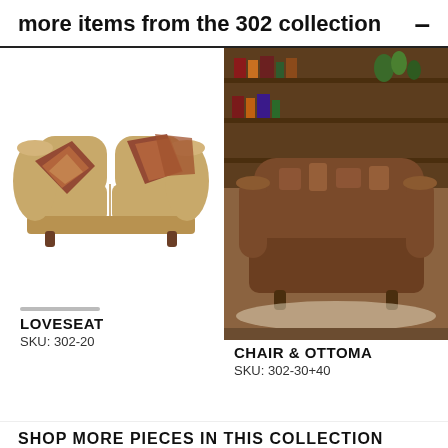more items from the 302 collection
[Figure (photo): Photo of a tan/beige loveseat with decorative patterned pillows in red, gold, and brown tones, on white background]
LOVESEAT
SKU: 302-20
[Figure (photo): Photo of a brown patterned chair in a room setting with bookshelves and a plant in the background]
CHAIR & OTTOMAN
SKU: 302-30+40
SHOP MORE PIECES IN THIS COLLECTION